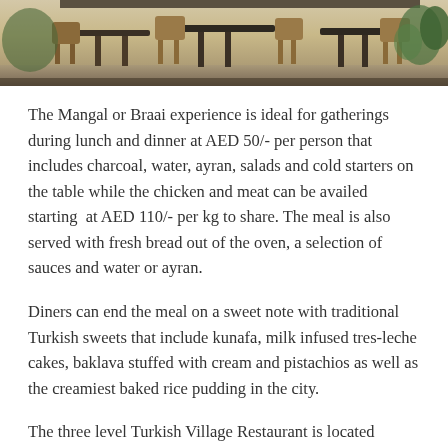[Figure (photo): Interior photo of a restaurant patio/dining area with wooden chairs and tables, plants visible in the background]
The Mangal or Braai experience is ideal for gatherings during lunch and dinner at AED 50/- per person that includes charcoal, water, ayran, salads and cold starters on the table while the chicken and meat can be availed starting at AED 110/- per kg to share. The meal is also served with fresh bread out of the oven, a selection of sauces and water or ayran.
Diners can end the meal on a sweet note with traditional Turkish sweets that include kunafa, milk infused tres-leche cakes, baklava stuffed with cream and pistachios as well as the creamiest baked rice pudding in the city.
The three level Turkish Village Restaurant is located strategically in Jumeirah 1 (across La Mer, next to Spinneys and the Jumeirah Grand Mosque), and in Dubai Festival City